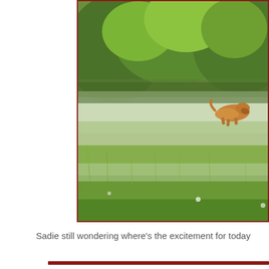[Figure (photo): A golden/brown dog running through a tall green grass field with lush green trees in the background. The photo has a red/dark red border frame.]
Sadie still wondering where's the excitement for today